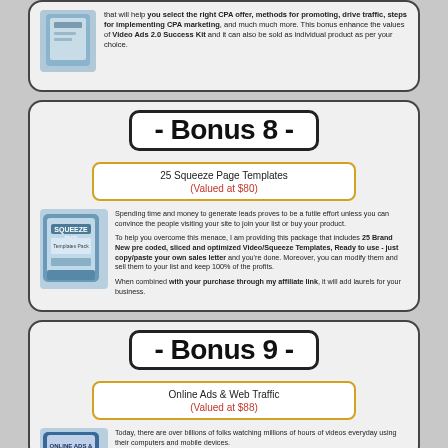that will help you select the right CPA offer, methods for promoting, drive traffic, steps for implementing CPA marketing, and much much more. This bonus enhance the values of Video Ads 2.0 Success Kit and it can also be sold as individual product as per your choice.
- Bonus 8 -
25 Squeeze Page Templates
(Valued at $80)
Spending time and money to generate leads proves to be a futile effort unless you can convince the people visiting your site to join your list or buy your product.

To help you overcome this menace, I am providing this package that includes 25 Brand New pre coded, sliced and optimized Video/Squeeze Templates, Ready to use - just copy/paste your own sales letter and you're done. Moreover, you can modify them and sell them to your list and keep 100% of the profits.

When combined with your purchase through my affiliate link, it will add laurels for your business.
- Bonus 9 -
Online Ads & Web Traffic
(Valued at $88)
Today, there are over billions of folks watching millions of hours of videos everyday using their computers and mobile devices.

To make the most from these visitors, I am